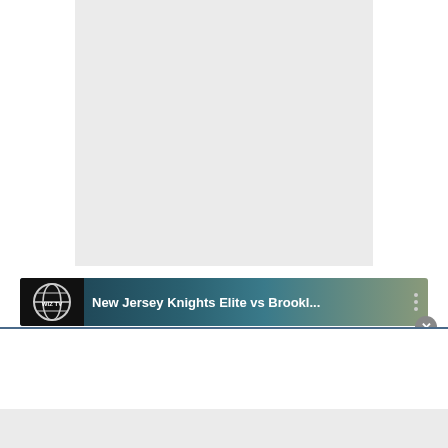[Figure (screenshot): Light gray rectangular content placeholder area in upper portion of page]
[Figure (screenshot): Video player notification banner showing 'New Jersey Knights Elite vs Brookl...' with WIZ TV logo, teal/dark gradient background, three-dot menu icon, and close (X) button]
New Jersey Knights Elite vs Brookl...